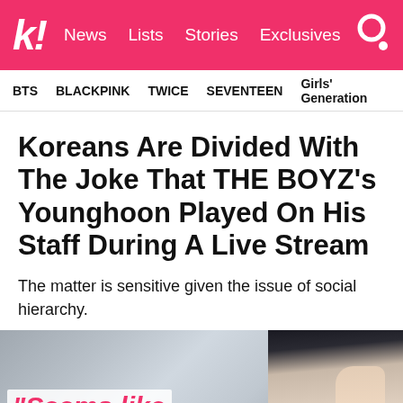k! News Lists Stories Exclusives
BTS  BLACKPINK  TWICE  SEVENTEEN  Girls' Generation
Koreans Are Divided With The Joke That THE BOYZ's Younghoon Played On His Staff During A Live Stream
The matter is sensitive given the issue of social hierarchy.
[Figure (photo): Photo of a person with dark hair on right side; left side shows a blurred background. Overlay text reads "Seems like" in pink italic font on white background.]